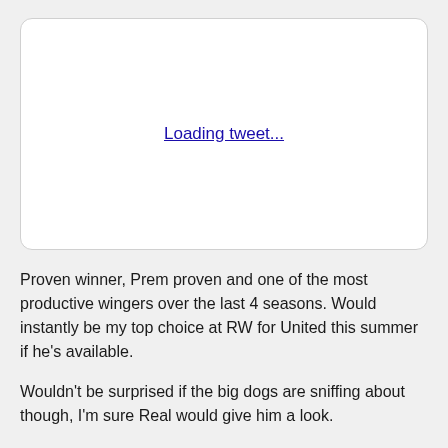[Figure (screenshot): A tweet embed placeholder box with a 'Loading tweet...' hyperlink in the center]
Proven winner, Prem proven and one of the most productive wingers over the last 4 seasons. Would instantly be my top choice at RW for United this summer if he's available.
Wouldn't be surprised if the big dogs are sniffing about though, I'm sure Real would give him a look.